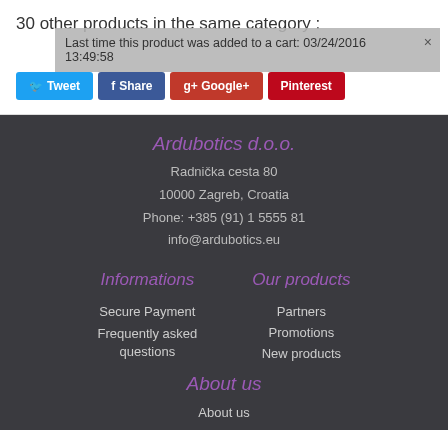30 other products in the same category :
Last time this product was added to a cart: 03/24/2016 13:49:58
Tweet  Share  Google+  Pinterest
Ardubotics d.o.o.
Radnička cesta 80
10000 Zagreb, Croatia
Phone: +385 (91) 1 5555 81
info@ardubotics.eu
Informations
Our products
Secure Payment
Frequently asked questions
Partners
Promotions
New products
About us
About us